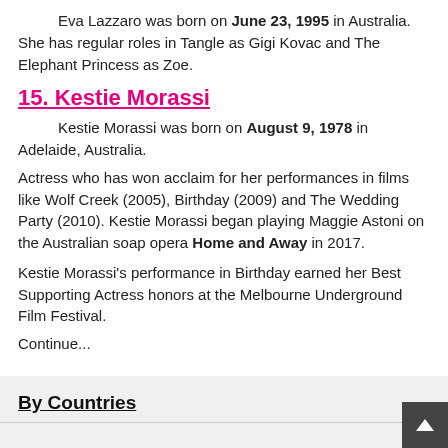Eva Lazzaro was born on June 23, 1995 in Australia. She has regular roles in Tangle as Gigi Kovac and The Elephant Princess as Zoe.
15. Kestie Morassi
Kestie Morassi was born on August 9, 1978 in Adelaide, Australia.
Actress who has won acclaim for her performances in films like Wolf Creek (2005), Birthday (2009) and The Wedding Party (2010). Kestie Morassi began playing Maggie Astoni on the Australian soap opera Home and Away in 2017.
Kestie Morassi's performance in Birthday earned her Best Supporting Actress honors at the Melbourne Underground Film Festival.
Continue...
By Countries